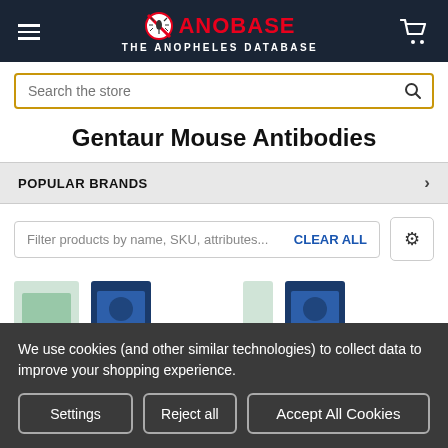ANOBASE THE ANOPHELES DATABASE
Search the store
Gentaur Mouse Antibodies
POPULAR BRANDS
Filter products by name, SKU, attributes... CLEAR ALL
[Figure (screenshot): Partially visible product thumbnails — green and blue product box images at bottom of page]
We use cookies (and other similar technologies) to collect data to improve your shopping experience.
Settings | Reject all | Accept All Cookies